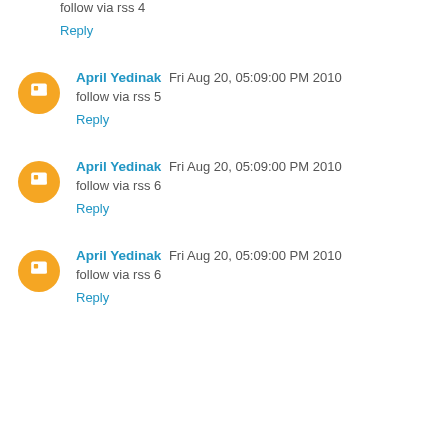follow via rss 4
Reply
April Yedinak  Fri Aug 20, 05:09:00 PM 2010
follow via rss 5
Reply
April Yedinak  Fri Aug 20, 05:09:00 PM 2010
follow via rss 6
Reply
April Yedinak  Fri Aug 20, 05:09:00 PM 2010
follow via rss 6
Reply